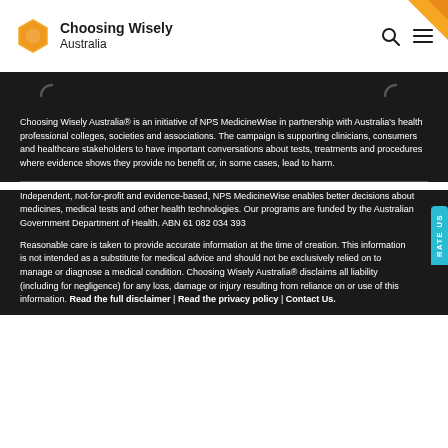Choosing Wisely Australia
[Figure (logo): Choosing Wisely Australia logo with yellow/orange diamond speech bubble icon and text 'Choosing Wisely Australia']
Choosing Wisely Australia® is an initiative of NPS MedicineWise in partnership with Australia's health professional colleges, societies and associations. The campaign is supporting clinicians, consumers and healthcare stakeholders to have important conversations about tests, treatments and procedures where evidence shows they provide no benefit or, in some cases, lead to harm.
Independent, not-for-profit and evidence-based, NPS MedicineWise enables better decisions about medicines, medical tests and other health technologies. Our programs are funded by the Australian Government Department of Health. ABN 61 082 034 393
Reasonable care is taken to provide accurate information at the time of creation. This information is not intended as a substitute for medical advice and should not be exclusively relied on to manage or diagnose a medical condition. Choosing Wisely Australia® disclaims all liability (including for negligence) for any loss, damage or injury resulting from reliance on or use of this information. Read the full disclaimer | Read the privacy policy | Contact Us.